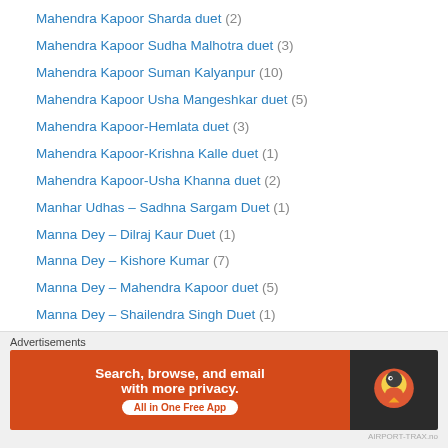Mahendra Kapoor Sharda duet (2)
Mahendra Kapoor Sudha Malhotra duet (3)
Mahendra Kapoor Suman Kalyanpur (10)
Mahendra Kapoor Usha Mangeshkar duet (5)
Mahendra Kapoor-Hemlata duet (3)
Mahendra Kapoor-Krishna Kalle duet (1)
Mahendra Kapoor-Usha Khanna duet (2)
Manhar Udhas – Sadhna Sargam Duet (1)
Manna Dey – Dilraj Kaur Duet (1)
Manna Dey – Kishore Kumar (7)
Manna Dey – Mahendra Kapoor duet (5)
Manna Dey – Shailendra Singh Duet (1)
Manna Dey – Shamshad Begam (4)
Manna Dey – Sulakshana Pandit Duet (1)
Manna Dey – Usha Mangeshkar duet (5)
Manna Dey -Usha Khanna (2)
Advertisements
[Figure (infographic): DuckDuckGo advertisement banner: orange background on the left with white text 'Search, browse, and email with more privacy.' and 'All in One Free App', dark background on the right with DuckDuckGo duck logo]